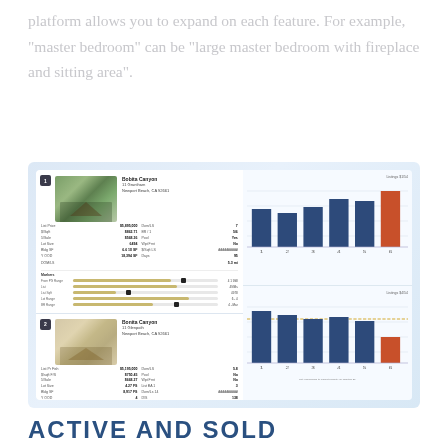platform allows you to expand on each feature. For example, "master bedroom" can be "large master bedroom with fireplace and sitting area".
[Figure (screenshot): Screenshot of a real estate platform showing two property listing cards on the left with property photos, details, price sliders, and two bar charts on the right showing listing analytics with navy and orange bars.]
ACTIVE AND SOLD